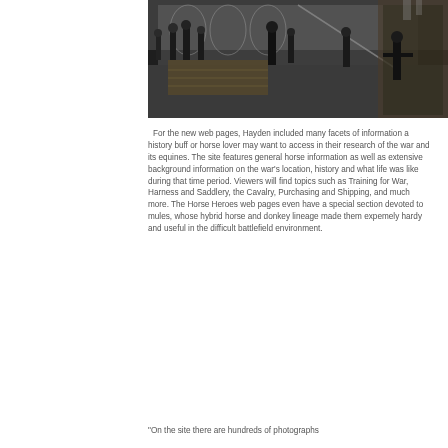[Figure (photo): Black and white historical photograph showing soldiers and horses at what appears to be a dock or warehouse, with people in military uniforms and hay bales visible.]
For the new web pages, Hayden included many facets of information a history buff or horse lover may want to access in their research of the war and its equines. The site features general horse information as well as extensive background information on the war's location, history and what life was like during that time period. Viewers will find topics such as Training for War, Harness and Saddlery, the Cavalry, Purchasing and Shipping, and much more. The Horse Heroes web pages even have a special section devoted to mules, whose hybrid horse and donkey lineage made them expemely hardy and useful in the difficult battlefield environment.
"On the site there are hundreds of photographs